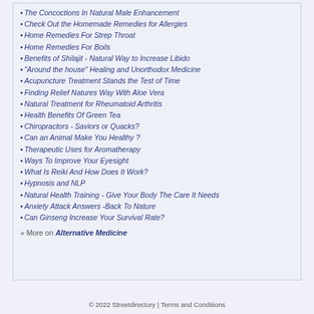The Concoctions In Natural Male Enhancement
Check Out the Homemade Remedies for Allergies
Home Remedies For Strep Throat
Home Remedies For Boils
Benefits of Shilajit - Natural Way to Increase Libido
"Around the house" Healing and Unorthodox Medicine
Acupuncture Treatment Stands the Test of Time
Finding Relief Natures Way With Aloe Vera
Natural Treatment for Rheumatoid Arthritis
Health Benefits Of Green Tea
Chiropractors - Saviors or Quacks?
Can an Animal Make You Healthy ?
Therapeutic Uses for Aromatherapy
Ways To Improve Your Eyesight
What Is Reiki And How Does It Work?
Hypnosis and NLP
Natural Health Training - Give Your Body The Care It Needs
Anxiety Attack Answers -Back To Nature
Can Ginseng Increase Your Survival Rate?
» More on Alternative Medicine
© 2022 Streetdirectory | Terms and Conditions